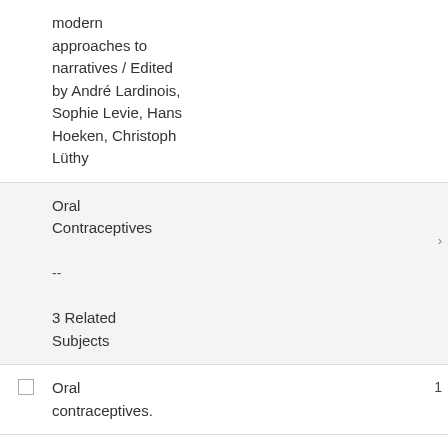modern approaches to narratives / Edited by André Lardinois, Sophie Levie, Hans Hoeken, Christoph Lüthy
Oral Contraceptives
--
3 Related Subjects
Oral contraceptives.
Oral
1984